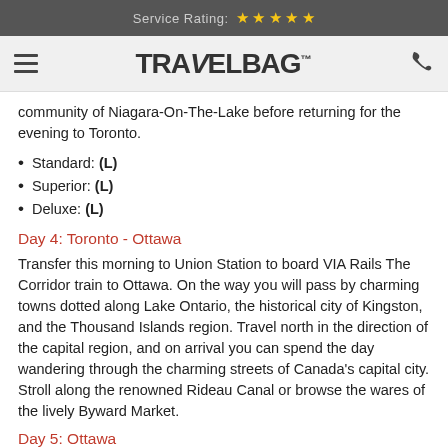Service Rating: ★★★★★
[Figure (logo): Travelbag logo with hamburger menu icon and phone icon]
community of Niagara-On-The-Lake before returning for the evening to Toronto.
Standard: (L)
Superior: (L)
Deluxe: (L)
Day 4: Toronto - Ottawa
Transfer this morning to Union Station to board VIA Rails The Corridor train to Ottawa. On the way you will pass by charming towns dotted along Lake Ontario, the historical city of Kingston, and the Thousand Islands region. Travel north in the direction of the capital region, and on arrival you can spend the day wandering through the charming streets of Canada's capital city. Stroll along the renowned Rideau Canal or browse the wares of the lively Byward Market.
Day 5: Ottawa
Witness the splendour of Ottawa today on a hop-on